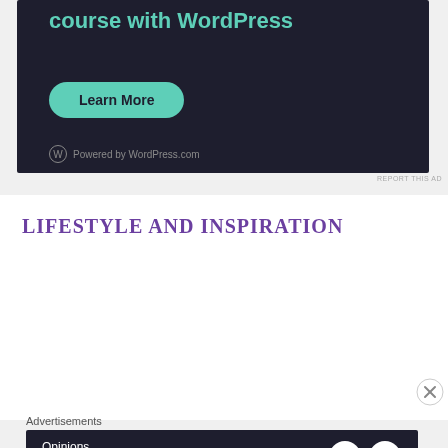[Figure (screenshot): WordPress.com advertisement banner with dark navy background. Text reads 'Launch your online course with WordPress' in teal, a 'Learn More' teal button, and 'Powered by WordPress.com' at bottom.]
REPORT THIS AD
LIFESTYLE AND INSPIRATION
[Figure (other): Close (X) button circle icon]
Advertisements
[Figure (screenshot): WordPress.com advertisement banner with dark navy background. Text reads 'Opinions. We all have them!' with WordPress logo and another circular logo on the right.]
REPORT THIS AD